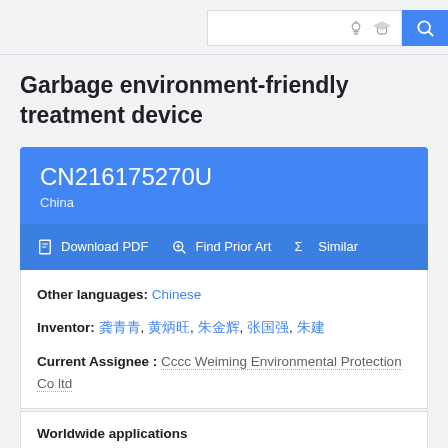Google Patents search bar header
Garbage environment-friendly treatment device
CN216175270U
China
Download PDF  Find Prior Art  Similar
Other languages: Chinese
Inventor: 龚青青, 黄炳旺, 朱金辉, 张国强, 朱建
Current Assignee : Cccc Weiming Environmental Protection Co ltd
Worldwide applications
2021 · CN